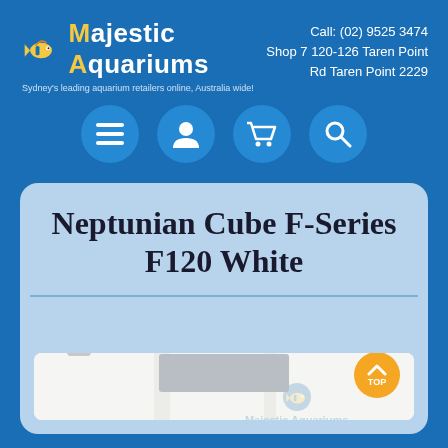[Figure (logo): Majestic Aquariums logo with fish icon and text]
Call: (02) 9525 3474
Shop 7 120-126 Taren Point Rd Taren Point 2229
[Figure (infographic): Navigation icon buttons: menu, user, cart, search]
Neptunian Cube F-Series F120 White
[Figure (screenshot): Google Maps embed showing store location with Majestic Aquariums watermark, Google Maps pin icon, and TOP scroll button]